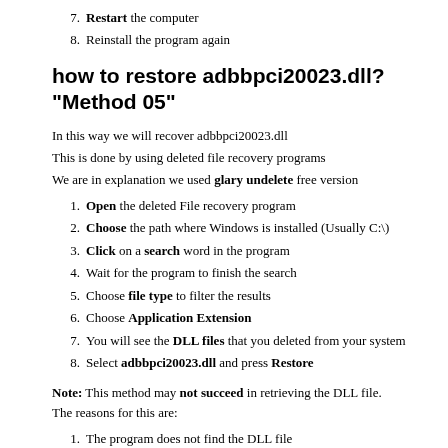7. Restart the computer
8. Reinstall the program again
how to restore adbbpci20023.dll? "Method 05"
In this way we will recover adbbpci20023.dll
This is done by using deleted file recovery programs
We are in explanation we used glary undelete free version
1. Open the deleted File recovery program
2. Choose the path where Windows is installed (Usually C:\)
3. Click on a search word in the program
4. Wait for the program to finish the search
5. Choose file type to filter the results
6. Choose Application Extension
7. You will see the DLL files that you deleted from your system
8. Select adbbpci20023.dll and press Restore
Note: This method may not succeed in retrieving the DLL file.
The reasons for this are:
1. The program does not find the DLL file